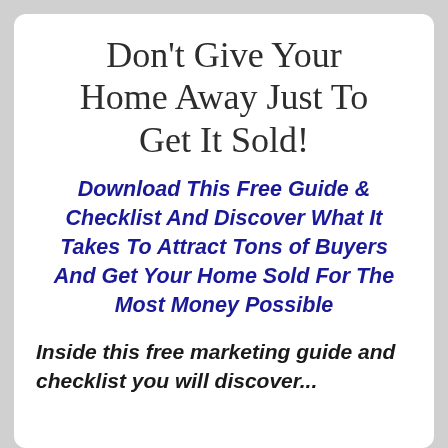Don't Give Your Home Away Just To Get It Sold!
Download This Free Guide & Checklist And Discover What It Takes To Attract Tons of Buyers And Get Your Home Sold For The Most Money Possible
Inside this free marketing guide and checklist you will discover...